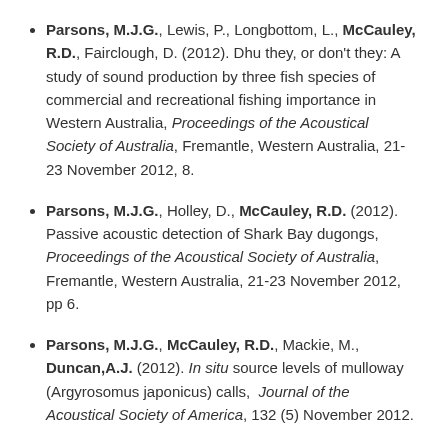Parsons, M.J.G., Lewis, P., Longbottom, L., McCauley, R.D., Fairclough, D. (2012). Dhu they, or don't they: A study of sound production by three fish species of commercial and recreational fishing importance in Western Australia, Proceedings of the Acoustical Society of Australia, Fremantle, Western Australia, 21-23 November 2012, 8.
Parsons, M.J.G., Holley, D., McCauley, R.D. (2012). Passive acoustic detection of Shark Bay dugongs, Proceedings of the Acoustical Society of Australia, Fremantle, Western Australia, 21-23 November 2012, pp 6.
Parsons, M.J.G., McCauley, R.D., Mackie, M., Duncan, A.J. (2012). In situ source levels of mulloway (Argyrosomus japonicus) calls, Journal of the Acoustical Society of America, 132 (5) November 2012.